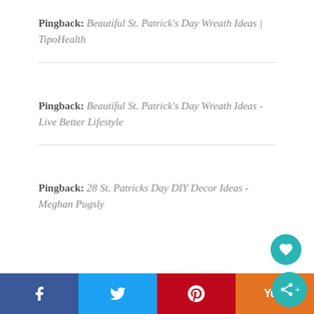Pingback: Beautiful St. Patrick's Day Wreath Ideas | TipoHealth
Pingback: Beautiful St. Patrick's Day Wreath Ideas - Live Better Lifestyle
Pingback: 28 St. Patricks Day DIY Decor Ideas - Meghan Pugsly